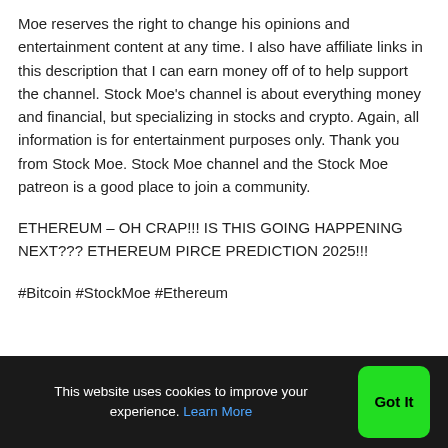Moe reserves the right to change his opinions and entertainment content at any time. I also have affiliate links in this description that I can earn money off of to help support the channel. Stock Moe's channel is about everything money and financial, but specializing in stocks and crypto. Again, all information is for entertainment purposes only. Thank you from Stock Moe. Stock Moe channel and the Stock Moe patreon is a good place to join a community.
ETHEREUM – OH CRAP!!! IS THIS GOING HAPPENING NEXT??? ETHEREUM PIRCE PREDICTION 2025!!!
#Bitcoin #StockMoe #Ethereum
This website uses cookies to improve your experience. Learn More  Got It